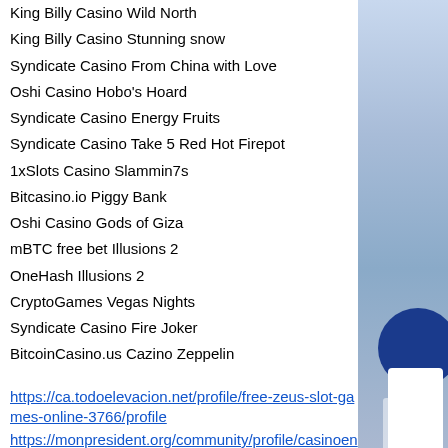King Billy Casino Wild North
King Billy Casino Stunning snow
Syndicate Casino From China with Love
Oshi Casino Hobo's Hoard
Syndicate Casino Energy Fruits
Syndicate Casino Take 5 Red Hot Firepot
1xSlots Casino Slammin7s
Bitcasino.io Piggy Bank
Oshi Casino Gods of Giza
mBTC free bet Illusions 2
OneHash Illusions 2
CryptoGames Vegas Nights
Syndicate Casino Fire Joker
BitcoinCasino.us Cazino Zeppelin
https://ca.todoelevacion.net/profile/free-zeus-slot-games-online-3766/profile
https://monpresident.org/community/profile/casinoen9868883/
https://www.inspiredoriginal.org/profile/casino-online-with-btc-9633/profile
https://www.lovemenu.es/sun-palace-casino-